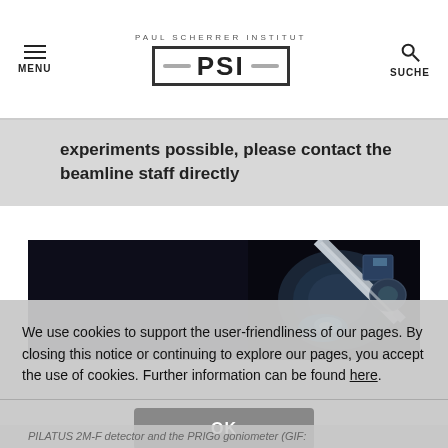MENU | PAUL SCHERRER INSTITUT PSI | SUCHE
experiments possible, please contact the beamline staff directly
[Figure (photo): Scientific equipment photo showing a PILATUS 2M-F detector and PRIGO goniometer in dark background with blue light]
We use cookies to support the user-friendliness of our pages. By closing this notice or continuing to explore our pages, you accept the use of cookies. Further information can be found here.
PILATUS 2M-F detector and the PRIGo goniometer (GIF: